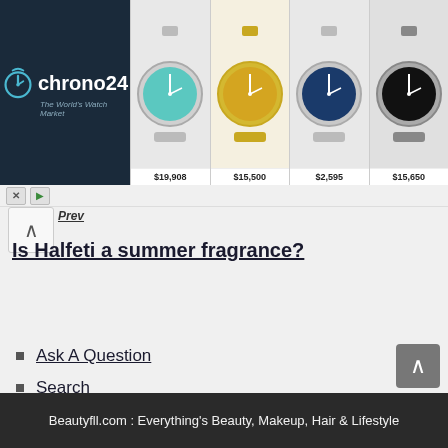[Figure (screenshot): Chrono24 advertisement banner showing watch market with 4 watches and prices: $19,908, $15,500, $2,595, $15,650]
Is Halfeti a summer fragrance?
Ask A Question
Search
About Us
Privacy Policy
Contact
Beautyfll.com : Everything's Beauty, Makeup, Hair & Lifestyle